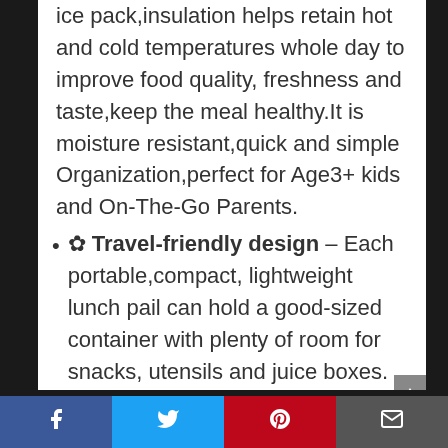ice pack,insulation helps retain hot and cold temperatures whole day to improve food quality, freshness and taste,keep the meal healthy.It is moisture resistant,quick and simple Organization,perfect for Age3+ kids and On-The-Go Parents.
✿ Travel-friendly design – Each portable,compact, lightweight lunch pail can hold a good-sized container with plenty of room for snacks, utensils and juice boxes. Features include a zippered front pocket for hiding a surprise dessert or fun note, a handy inner mesh pouch
Facebook | Twitter | Pinterest | Email